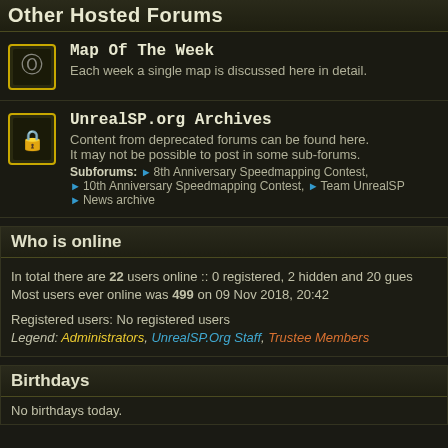Other Hosted Forums
Map Of The Week
Each week a single map is discussed here in detail.
UnrealSP.org Archives
Content from deprecated forums can be found here.
It may not be possible to post in some sub-forums.
Subforums: 8th Anniversary Speedmapping Contest, 10th Anniversary Speedmapping Contest, Team UnrealSP, News archive
Who is online
In total there are 22 users online :: 0 registered, 2 hidden and 20 gues
Most users ever online was 499 on 09 Nov 2018, 20:42
Registered users: No registered users
Legend: Administrators, UnrealSP.Org Staff, Trustee Members
Birthdays
No birthdays today.